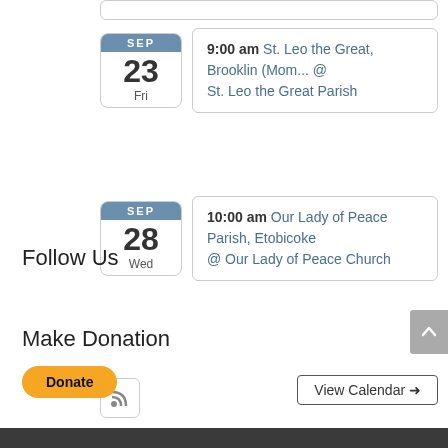9:00 am St. Leo the Great, Brooklin (Mom... @ St. Leo the Great Parish
10:00 am Our Lady of Peace Parish, Etobicoke @ Our Lady of Peace Church
[Figure (screenshot): RSS feed icon button]
View Calendar →
Follow Us
Make Donation
[Figure (screenshot): PayPal Donate button - yellow rounded button with 'Donate' text]